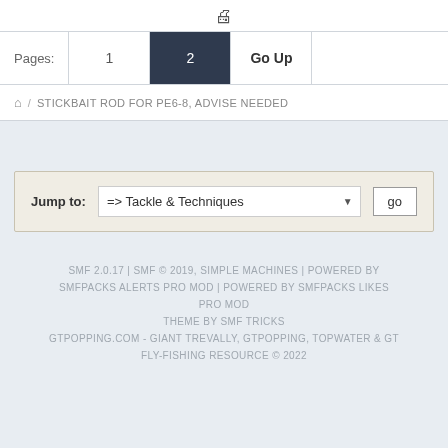🖨
Pages: 1  2  Go Up
🏠 / STICKBAIT ROD FOR PE6-8, ADVISE NEEDED
Jump to: => Tackle & Techniques  go
SMF 2.0.17 | SMF © 2019, SIMPLE MACHINES | POWERED BY SMFPACKS ALERTS PRO MOD | POWERED BY SMFPACKS LIKES PRO MOD
THEME BY SMF TRICKS
GTPOPPING.COM - GIANT TREVALLY, GTPOPPING, TOPWATER & GT FLY-FISHING RESOURCE © 2022